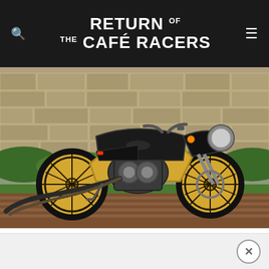RETURN OF THE CAFÉ RACERS
[Figure (photo): Black and gold Moto Guzzi cafe racer motorcycle parked on a wooden deck in front of a stone wall with greenery. The bike features gold wheels, black bodywork, wrapped exhaust pipes, and a classic cafe racer fairing.]
[Figure (other): Close button (X) at bottom right of page, indicating a closeable advertisement or overlay banner area.]